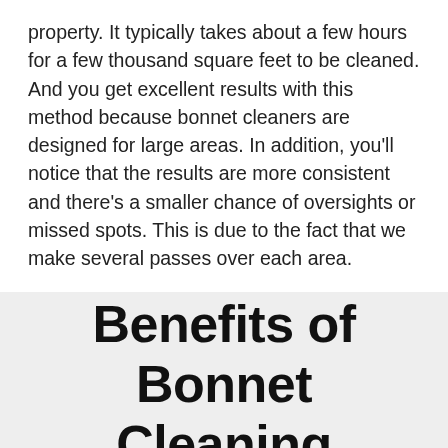property. It typically takes about a few hours for a few thousand square feet to be cleaned. And you get excellent results with this method because bonnet cleaners are designed for large areas. In addition, you'll notice that the results are more consistent and there's a smaller chance of oversights or missed spots. This is due to the fact that we make several passes over each area.
Benefits of Bonnet Cleaning
[Figure (other): Green call-to-action bar with phone icon and 'Click to Call' text in white]